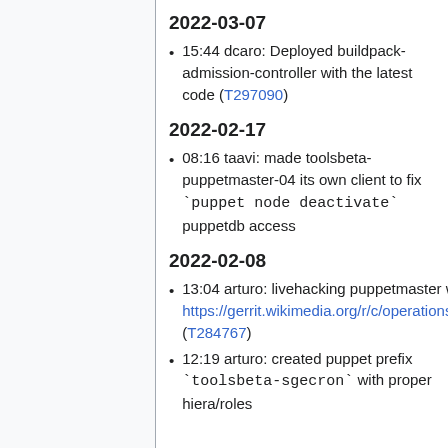2022-03-07
15:44 dcaro: Deployed buildpack-admission-controller with the latest code (T297090)
2022-02-17
08:16 taavi: made toolsbeta-puppetmaster-04 its own client to fix `puppet node deactivate` puppetdb access
2022-02-08
13:04 arturo: livehacking puppetmaster with https://gerrit.wikimedia.org/r/c/operations/puppet/+/760933 (T284767)
12:19 arturo: created puppet prefix `toolsbeta-sgecron` with proper hiera/roles